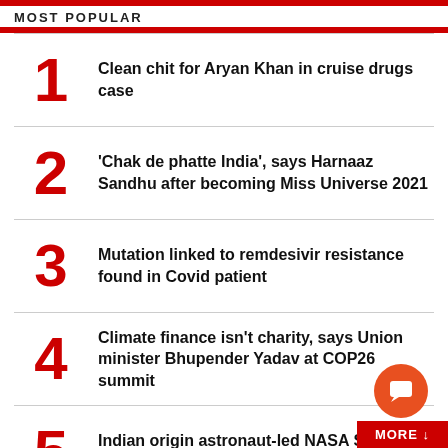MOST POPULAR
1. Clean chit for Aryan Khan in cruise drugs case
2. 'Chak de phatte India', says Harnaaz Sandhu after becoming Miss Universe 2021
3. Mutation linked to remdesivir resistance found in Covid patient
4. Climate finance isn't charity, says Union minister Bhupender Yadav at COP26 summit
5. Indian origin astronaut-led NASA SpaceX Crew-3 team headed t…